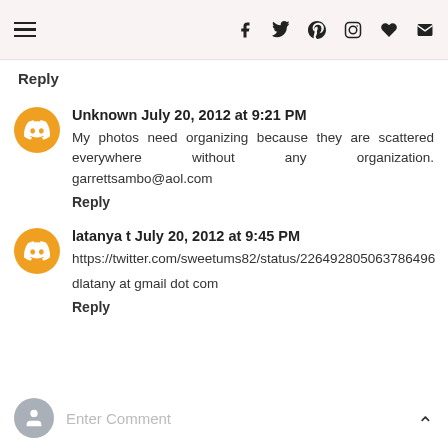Navigation and social icons header bar
Reply
Unknown July 20, 2012 at 9:21 PM
My photos need organizing because they are scattered everywhere without any organization. garrettsambo@aol.com
Reply
latanya t July 20, 2012 at 9:45 PM
https://twitter.com/sweetums82/status/226492805063786496
dlatany at gmail dot com
Reply